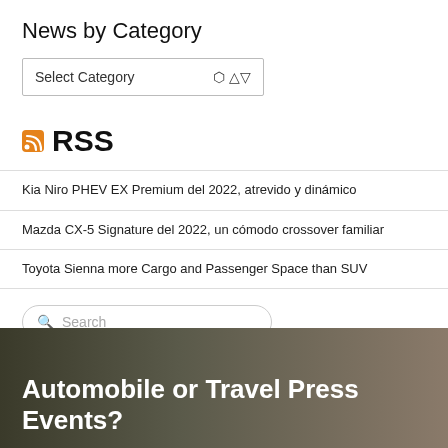News by Category
Select Category
RSS
Kia Niro PHEV EX Premium del 2022, atrevido y dinámico
Mazda CX-5 Signature del 2022, un cómodo crossover familiar
Toyota Sienna more Cargo and Passenger Space than SUV
Search
Automobile or Travel Press Events?